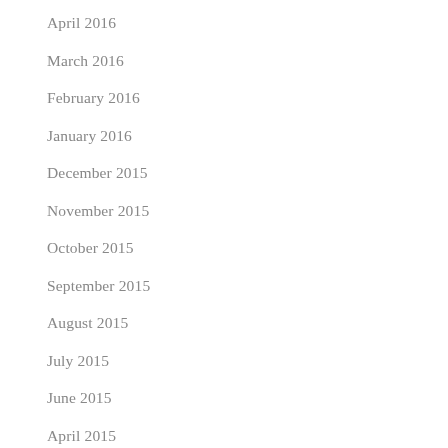April 2016
March 2016
February 2016
January 2016
December 2015
November 2015
October 2015
September 2015
August 2015
July 2015
June 2015
April 2015
March 2015
February 2015